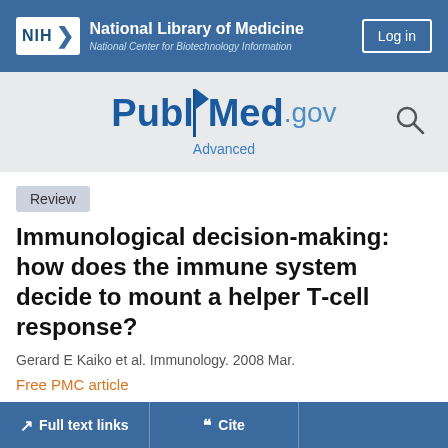NIH National Library of Medicine National Center for Biotechnology Information
[Figure (logo): PubMed.gov logo with search icon and Advanced link]
Review
Immunological decision-making: how does the immune system decide to mount a helper T-cell response?
Gerard E Kaiko et al. Immunology. 2008 Mar.
Free PMC article
Show details
Full text links  Cite